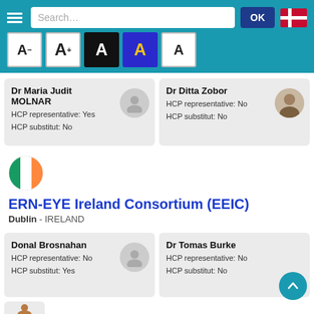[Figure (screenshot): Mobile app top navigation bar with hamburger menu, search field, OK button, and Danish flag]
[Figure (screenshot): Font size selector row with A- A+ A (black bg) A (blue bg, yellow) A buttons]
Dr Maria Judit MOLNAR
HCP representative: Yes
HCP substitut: No
Dr Ditta Zobor
HCP representative: No
HCP substitut: No
[Figure (illustration): Irish flag circle icon]
ERN-EYE Ireland Consortium (EEIC)
Dublin - IRELAND
Donal Brosnahan
HCP representative: No
HCP substitut: Yes
Dr Tomas Burke
HCP representative: No
HCP substitut: No